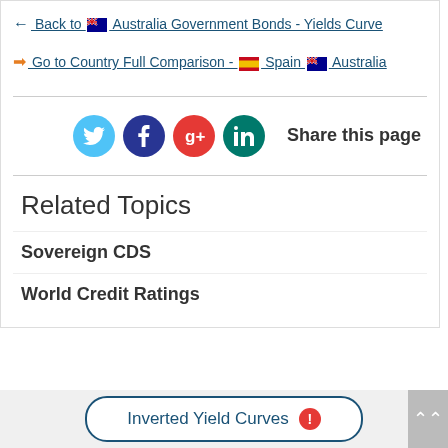← Back to 🇦🇺 Australia Government Bonds - Yields Curve
→ Go to Country Full Comparison - 🇪🇸 Spain 🇦🇺 Australia
[Figure (infographic): Social sharing buttons: Twitter, Facebook, Google+, LinkedIn, with text 'Share this page']
Related Topics
Sovereign CDS
World Credit Ratings
Inverted Yield Curves